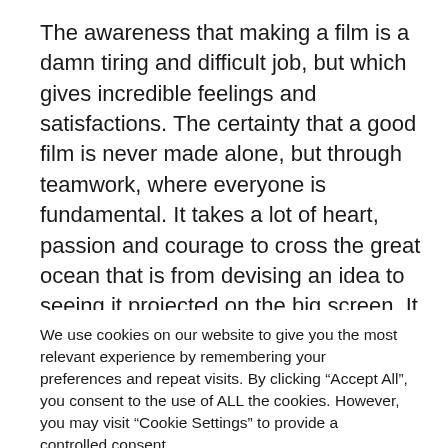The awareness that making a film is a damn tiring and difficult job, but which gives incredible feelings and satisfactions. The certainty that a good film is never made alone, but through teamwork, where everyone is fundamental. It takes a lot of heart, passion and courage to cross the great ocean that is from devising an idea to seeing it projected on the big screen. It is
We use cookies on our website to give you the most relevant experience by remembering your preferences and repeat visits. By clicking “Accept All”, you consent to the use of ALL the cookies. However, you may visit “Cookie Settings” to provide a controlled consent.